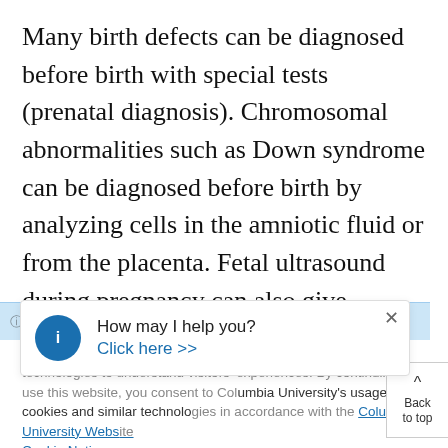Many birth defects can be diagnosed before birth with special tests (prenatal diagnosis). Chromosomal abnormalities such as Down syndrome can be diagnosed before birth by analyzing cells in the amniotic fluid or from the placenta. Fetal ultrasound during pregnancy can also give information about the possibility of certain birth defects, but ultrasound is not 100 percent accurate, since some babies with birth
[Figure (screenshot): Chat popup widget with blue info icon, 'How may I help you?' text and 'Click here >>' link, with close X button]
technologies to understand visitors' experiences. By continuing to use this website, you consent to Columbia University's usage of cookies and similar technologies in accordance with the Columbia University Website Cookie Notice.